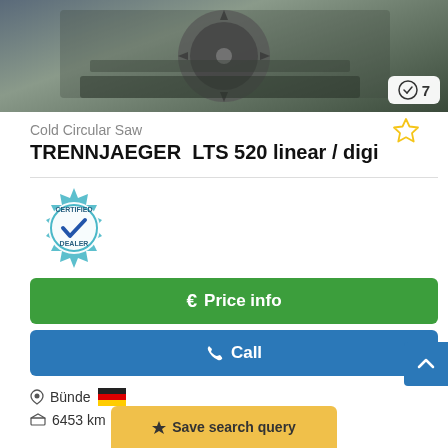[Figure (photo): Photo of a Cold Circular Saw machine (TRENNJAEGER LTS 520 linear / digi) with a zoom badge showing 7 images]
Cold Circular Saw
TRENNJAEGER  LTS 520 linear / digi
[Figure (logo): Certified Dealer badge — teal gear with checkmark]
€ Price info
✆ Call
Bünde 🇩🇪
6453 km ?
2001
used
Save search query